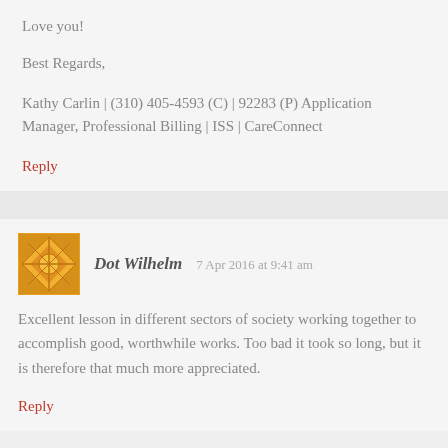Love you!
Best Regards,
Kathy Carlin | (310) 405-4593 (C) | 92283 (P) Application Manager, Professional Billing | ISS | CareConnect
Reply
Dot Wilhelm   7 Apr 2016 at 9:41 am
Excellent lesson in different sectors of society working together to accomplish good, worthwhile works. Too bad it took so long, but it is therefore that much more appreciated.
Reply